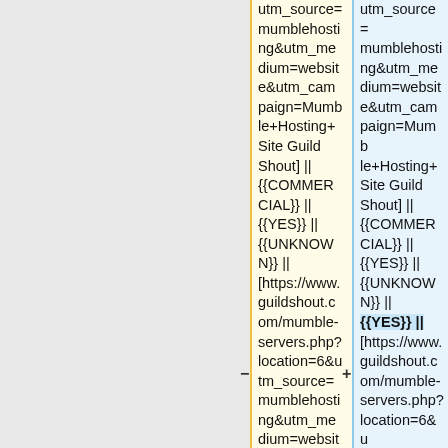| (left empty) | Column A | Column B |
| --- | --- | --- |
|  | utm_source=mumblehosting&utm_medium=website&utm_campaign=Mumble+Hosting+Site Guild Shout] || {{COMMERCIAL}} || {{YES}} || {{UNKNOWN}} || [https://www.guildshout.com/mumble-servers.php?location=6&utm_source=mumblehosting&utm_me dium=websit | utm_source=mumblehosting&utm_medium=website&utm_campaign=Mumble+Hosting+Site Guild Shout] || {{COMMERCIAL}} || {{YES}} || {{UNKNOWN}} || {{YES}} || [https://www.guildshout.com/mumble-servers.php?location=6&utm_source=mumblehosting&utm_me |